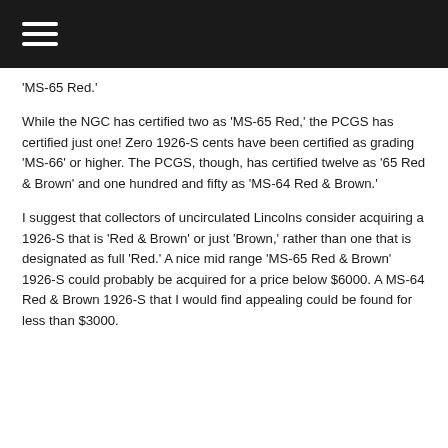☰
'MS-65 Red.'
While the NGC has certified two as 'MS-65 Red,' the PCGS has certified just one! Zero 1926-S cents have been certified as grading 'MS-66' or higher. The PCGS, though, has certified twelve as '65 Red & Brown' and one hundred and fifty as 'MS-64 Red & Brown.'
I suggest that collectors of uncirculated Lincolns consider acquiring a 1926-S that is 'Red & Brown' or just 'Brown,' rather than one that is designated as full 'Red.' A nice mid range 'MS-65 Red & Brown' 1926-S could probably be acquired for a price below $6000. A MS-64 Red & Brown 1926-S that I would find appealing could be found for less than $3000.